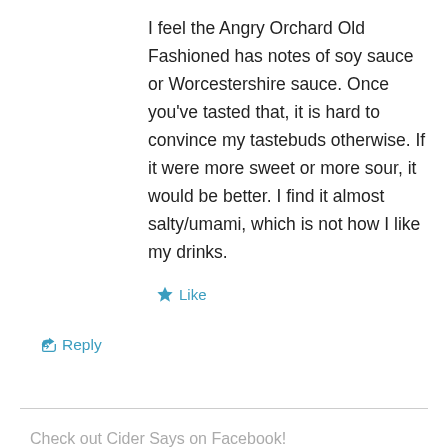I feel the Angry Orchard Old Fashioned has notes of soy sauce or Worcestershire sauce. Once you’ve tasted that, it is hard to convince my tastebuds otherwise. If it were more sweet or more sour, it would be better. I find it almost salty/umami, which is not how I like my drinks.
★ Like
↳ Reply
Check out Cider Says on Facebook!
Follow by E-mail